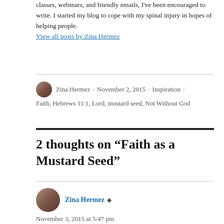classes, webinars, and friendly emails, I've been encouraged to write. I started my blog to cope with my spinal injury in hopes of helping people. View all posts by Zina Hermez
Zina Hermez / November 2, 2015 / Inspiration / Faith, Hebrews 11:1, Lord, mustard seed, Not Without God
2 thoughts on “Faith as a Mustard Seed”
Zina Hermez November 3, 2015 at 5:47 pm